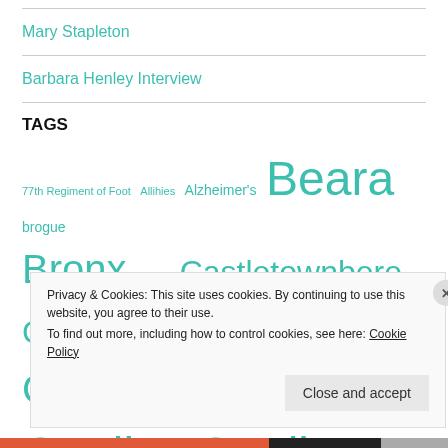Mary Stapleton
Barbara Henley Interview
TAGS
77th Regiment of Foot  Allihies  Alzheimer's  Beara  brogue  Bronx  Cashel  Castletownbere  Clountreem  Conroy  Cork  Filipino  Foston  Gaeilge  Gaelic  Halifax
Privacy & Cookies: This site uses cookies. By continuing to use this website, you agree to their use. To find out more, including how to control cookies, see here: Cookie Policy
Close and accept